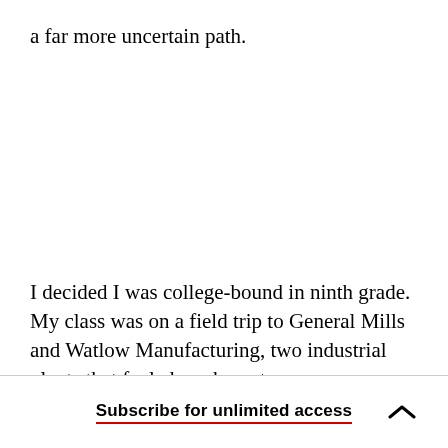a far more uncertain path.
I decided I was college-bound in ninth grade. My class was on a field trip to General Mills and Watlow Manufacturing, two industrial plants that fueled our hometown economy. We formed a circle
Subscribe for unlimited access